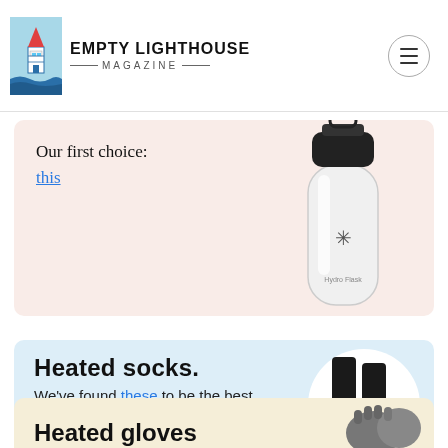[Figure (logo): Empty Lighthouse Magazine logo with lighthouse icon and hamburger menu button]
Our first choice:
this
[Figure (photo): White Hydro Flask water bottle with black lid]
Heated socks.
We've found these to be the best
[Figure (photo): Heated socks with orange heating elements at the feet]
Heated gloves